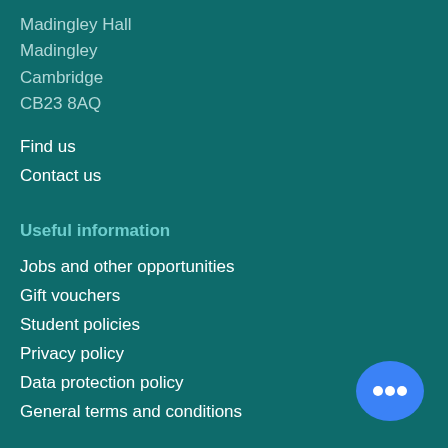Madingley Hall
Madingley
Cambridge
CB23 8AQ
Find us
Contact us
Useful information
Jobs and other opportunities
Gift vouchers
Student policies
Privacy policy
Data protection policy
General terms and conditions
Connect with us
Twitter
[Figure (illustration): Blue chat bubble icon with three dots]